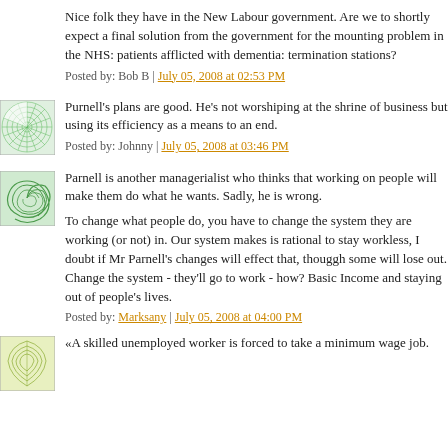Nice folk they have in the New Labour government. Are we to shortly expect a final solution from the government for the mounting problem in the NHS: patients afflicted with dementia: termination stations?
Posted by: Bob B | July 05, 2008 at 02:53 PM
[Figure (illustration): Green circular radial pattern avatar icon]
Purnell's plans are good. He's not worshiping at the shrine of business but using its efficiency as a means to an end.
Posted by: Johnny | July 05, 2008 at 03:46 PM
[Figure (illustration): Green spiral pattern avatar icon]
Parnell is another managerialist who thinks that working on people will make them do what he wants. Sadly, he is wrong.
To change what people do, you have to change the system they are working (or not) in. Our system makes is rational to stay workless, I doubt if Mr Parnell's changes will effect that, thouggh some will lose out. Change the system - they'll go to work - how? Basic Income and staying out of people's lives.
Posted by: Marksany | July 05, 2008 at 04:00 PM
[Figure (illustration): Yellow-green leaf/nature pattern avatar icon]
«A skilled unemployed worker is forced to take a minimum wage job.